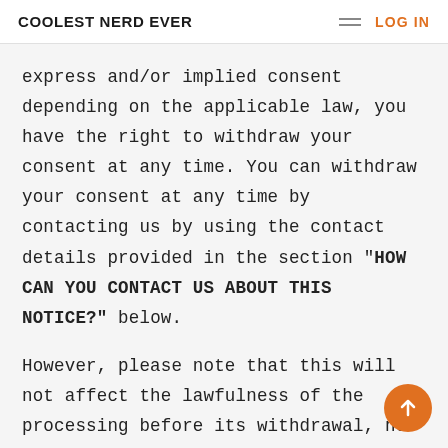COOLEST NERD EVER   LOG IN
express and/or implied consent depending on the applicable law, you have the right to withdraw your consent at any time. You can withdraw your consent at any time by contacting us by using the contact details provided in the section "HOW CAN YOU CONTACT US ABOUT THIS NOTICE?" below.
However, please note that this will not affect the lawfulness of the processing before its withdrawal, nor when applicable law allows, will it affect the processing o